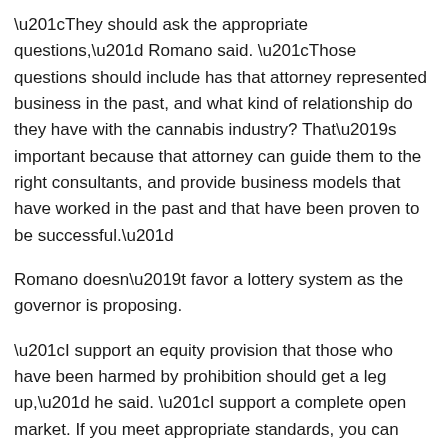“They should ask the appropriate questions,” Romano said. “Those questions should include has that attorney represented business in the past, and what kind of relationship do they have with the cannabis industry? That’s important because that attorney can guide them to the right consultants, and provide business models that have worked in the past and that have been proven to be successful.”
Romano doesn’t favor a lottery system as the governor is proposing.
“I support an equity provision that those who have been harmed by prohibition should get a leg up,” he said. “I support a complete open market. If you meet appropriate standards, you can open a liquor store. Why should it be any different with marijuana?”